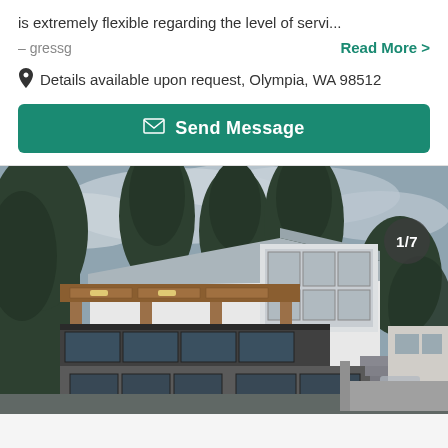is extremely flexible regarding the level of servi...
– gressg
Read More >
Details available upon request, Olympia, WA 98512
Send Message
[Figure (photo): Exterior photo of a modern multi-story house with wooden posts, large windows, metal roof, surrounded by tall evergreen trees under a cloudy sky. A badge reading '1/7' is in the upper right corner.]